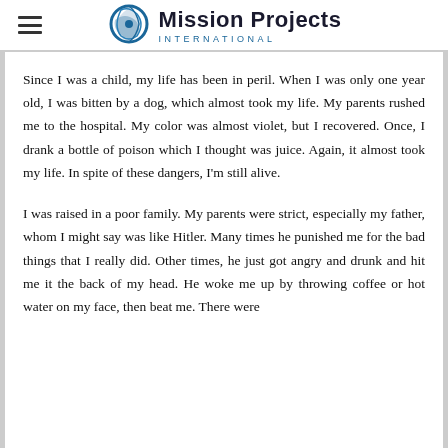Mission Projects International
Since I was a child, my life has been in peril. When I was only one year old, I was bitten by a dog, which almost took my life. My parents rushed me to the hospital. My color was almost violet, but I recovered. Once, I drank a bottle of poison which I thought was juice. Again, it almost took my life. In spite of these dangers, I'm still alive.
I was raised in a poor family. My parents were strict, especially my father, whom I might say was like Hitler. Many times he punished me for the bad things that I really did. Other times, he just got angry and drunk and hit me it the back of my head. He woke me up by throwing coffee or hot water on my face, then beat me. There were